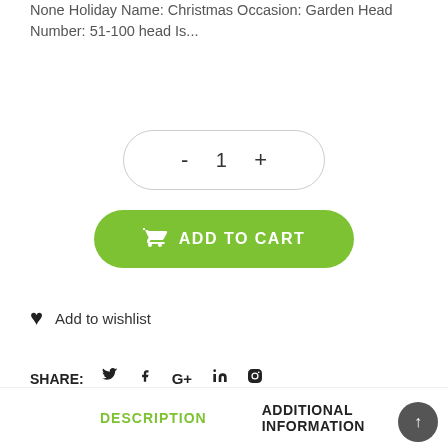None Holiday Name: Christmas Occasion: Garden Head Number: 51-100 head Is...
[Figure (other): Quantity selector with minus and plus buttons showing value 1]
[Figure (other): Add to cart button (green rounded rectangle with cart icon)]
Add to wishlist
SHARE: (twitter) (facebook) (google+) (linkedin) (pinterest)
DESCRIPTION    ADDITIONAL INFORMATION